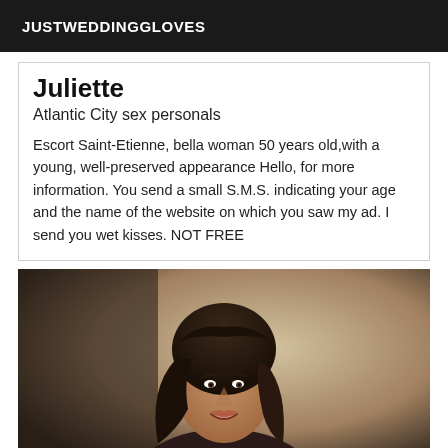JUSTWEDDINGGLOVES
Juliette
Atlantic City sex personals
Escort Saint-Etienne, bella woman 50 years old,with a young, well-preserved appearance Hello, for more information. You send a small S.M.S. indicating your age and the name of the website on which you saw my ad. I send you wet kisses. NOT FREE
[Figure (photo): Photo of a smiling dark-haired woman with long wavy hair, wearing a dark top, against a beige/grey background.]